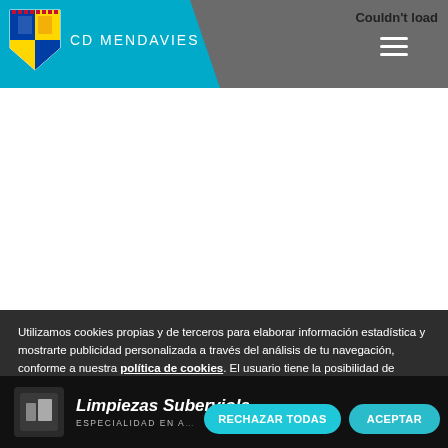CD MENDAVIES
Couldn't load
Utilizamos cookies propias y de terceros para elaborar información estadística y mostrarte publicidad personalizada a través del análisis de tu navegación, conforme a nuestra política de cookies. El usuario tiene la posibilidad de configurar su navegador pudiendo, si así lo desea, impedir su utilización, aunque debera tener en cuenta que dicha acción podrá ocasionar dificultades en la navegación. Si continúas navegando, aceptas su uso.
[Figure (logo): Limpiezas Suberviola advertisement strip at bottom of page with logo]
RECHAZAR TODAS
ACEPTAR